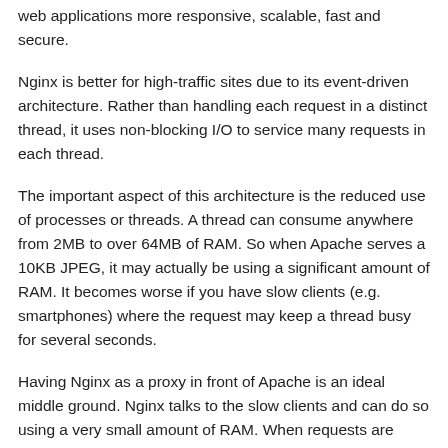web applications more responsive, scalable, fast and secure.
Nginx is better for high-traffic sites due to its event-driven architecture. Rather than handling each request in a distinct thread, it uses non-blocking I/O to service many requests in each thread.
The important aspect of this architecture is the reduced use of processes or threads. A thread can consume anywhere from 2MB to over 64MB of RAM. So when Apache serves a 10KB JPEG, it may actually be using a significant amount of RAM. It becomes worse if you have slow clients (e.g. smartphones) where the request may keep a thread busy for several seconds.
Having Nginx as a proxy in front of Apache is an ideal middle ground. Nginx talks to the slow clients and can do so using a very small amount of RAM. When requests are forwarded to